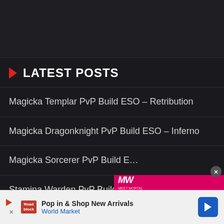LATEST POSTS
Magicka Templar PvP Build ESO – Retribution
Magicka Dragonknight PvP Build ESO – Inferno
Magicka Sorcerer PvP Build E…
Stamina Warden PvP Build ES…
Stamina Dragonknight PvP Build ESO – Venom
[Figure (screenshot): Video ad overlay showing MW logo (pink/red background) and text 'TACTICS OGRE: REBORN RELEASE DATE' with a play button and female character figure in the background]
[Figure (infographic): Bottom advertisement bar: Play icon, Roadblock logo, 'Pop in & Shop New Arrivals / World Market' text, blue navigation arrow icon]